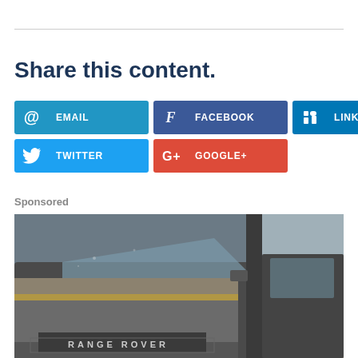Share this content.
[Figure (infographic): Social sharing buttons: EMAIL, FACEBOOK, LINKEDIN (row 1); TWITTER, GOOGLE+ (row 2). Each button has a colored background with an icon and label.]
Sponsored
[Figure (photo): Photo of a dusty Range Rover vehicle hood covered in dirt and debris, with the Range Rover logo visible on the grille.]